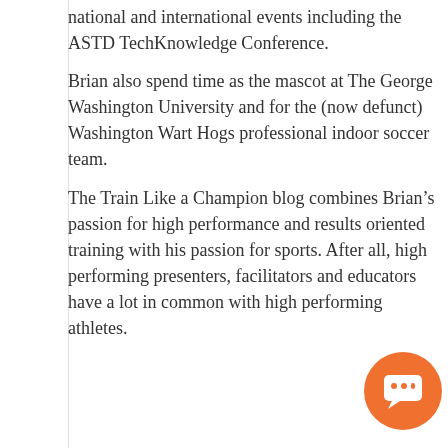national and international events including the ASTD TechKnowledge Conference.
Brian also spend time as the mascot at The George Washington University and for the (now defunct) Washington Wart Hogs professional indoor soccer team.
The Train Like a Champion blog combines Brian’s passion for high performance and results oriented training with his passion for sports. After all, high performing presenters, facilitators and educators have a lot in common with high performing athletes.